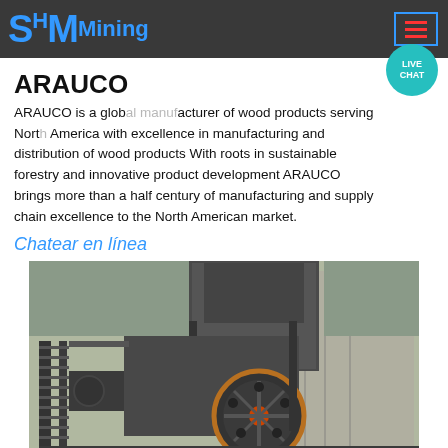SHM Mining (logo overlay bar with hamburger menu)
ARAUCO
ARAUCO is a global manufacturer of wood products serving North America with excellence in manufacturing and distribution of wood products With roots in sustainable forestry and innovative product development ARAUCO brings more than a half century of manufacturing and supply chain excellence to the North American market.
Chatear en línea
[Figure (photo): Large industrial mining/crushing machinery on a steel platform structure, outdoors, with concrete walls in background]
PDVSA
PDVSA planifica coordina supervisa y controla las actividades de exploración explotación transporte manufactura refinación